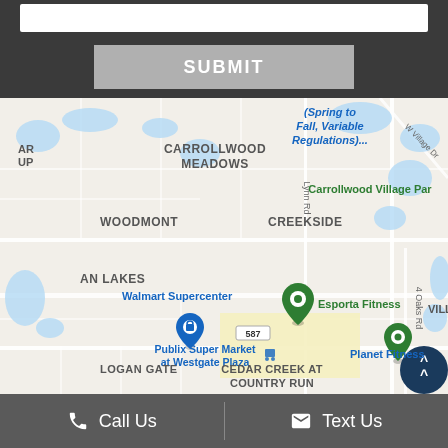[Figure (other): SUBMIT button on dark gray background]
[Figure (map): Google Maps showing Carrollwood area of Tampa, FL with neighborhoods: Carrollwood Meadows, Woodmont, Creekside, An Lakes, Logan Gate, Cedar Creek at Country Run, and Carrollwood Village Park. Landmarks shown: Walmart Supercenter, Publix Super Market at Westgate Plaza, Esporta Fitness, Planet Fitness. Road 587 visible. Text: (Spring to Fall, Variable Regulations)...]
Call Us   Text Us